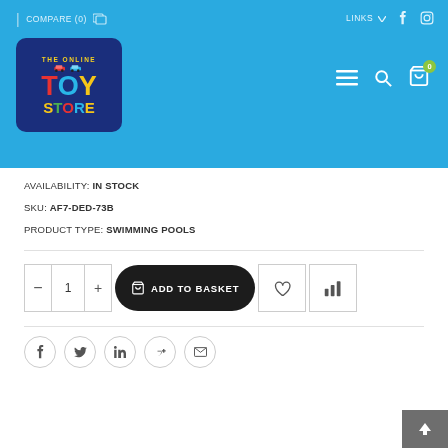COMPARE (0) | LINKS
[Figure (logo): The Online Toy Store logo - colorful text on dark blue rounded rectangle background]
AVAILABILITY: IN STOCK
SKU: AF7-DED-73B
PRODUCT TYPE: SWIMMING POOLS
[Figure (other): Add to basket row with quantity selector (minus, 1, plus), dark rounded ADD TO BASKET button, wishlist heart icon button, and bar chart compare icon button]
[Figure (other): Social share buttons row: Facebook, Twitter, LinkedIn, Google+, Email - circular outlined icons. Back to top button in grey on bottom right.]